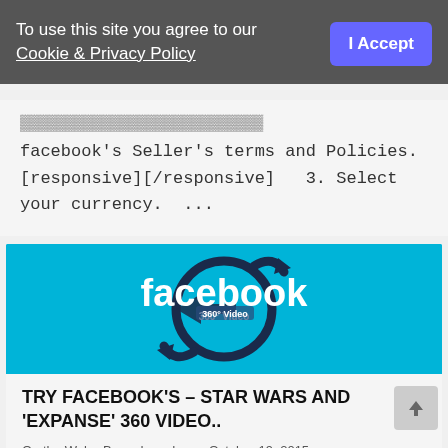To use this site you agree to our Cookie & Privacy Policy
I Accept
facebook's Seller's terms and Policies. [responsive][/responsive]   3. Select your currency.  ...
[Figure (illustration): Blue banner image with Facebook 360 Video logo — circular arrow icon around the word 'facebook' in white text on cyan/blue background, with '360° Video' label inside the arrow circle.]
TRY FACEBOOK'S – STAR WARS AND 'EXPANSE' 360 VIDEO..
On the Web • By andrew dunn • October 19, 2015